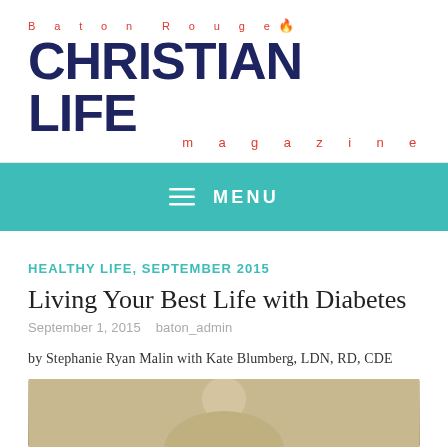[Figure (logo): Baton Rouge Christian Life Magazine logo with flame icon]
MENU
HEALTHY LIFE, SEPTEMBER 2015
Living Your Best Life with Diabetes
September 1, 2015   baton_admin
by Stephanie Ryan Malin with Kate Blumberg, LDN, RD, CDE
[Figure (photo): Photo of a woman, partially visible at the bottom of the page]